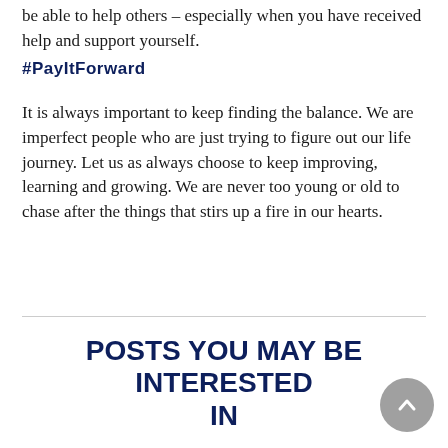be able to help others – especially when you have received help and support yourself.
#PayItForward
It is always important to keep finding the balance. We are imperfect people who are just trying to figure out our life journey. Let us as always choose to keep improving, learning and growing. We are never too young or old to chase after the things that stirs up a fire in our hearts.
POSTS YOU MAY BE INTERESTED IN